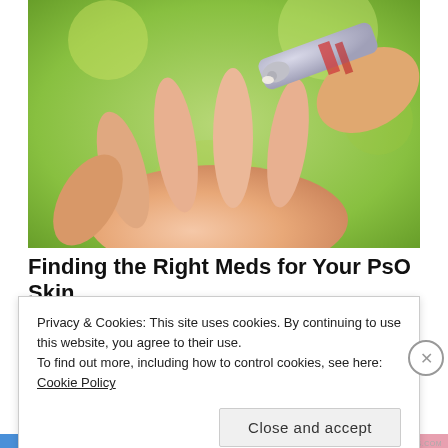[Figure (photo): A close-up photo of a hand being held open with a cream tube being applied to the palm, against a green blurred background.]
Finding the Right Meds for Your PsO Skin
Privacy & Cookies: This site uses cookies. By continuing to use this website, you agree to their use.
To find out more, including how to control cookies, see here: Cookie Policy
Close and accept